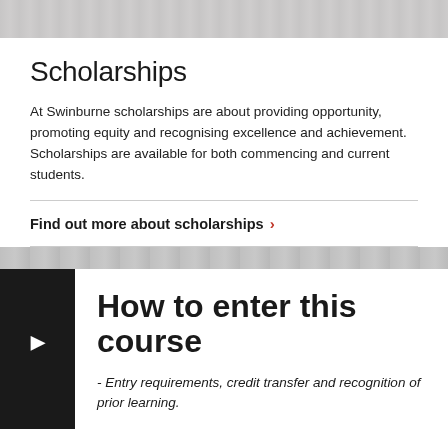[Figure (photo): Top decorative banner with grey textured background]
Scholarships
At Swinburne scholarships are about providing opportunity, promoting equity and recognising excellence and achievement. Scholarships are available for both commencing and current students.
Find out more about scholarships >
[Figure (photo): Middle grey textured banner divider]
How to enter this course
- Entry requirements, credit transfer and recognition of prior learning.